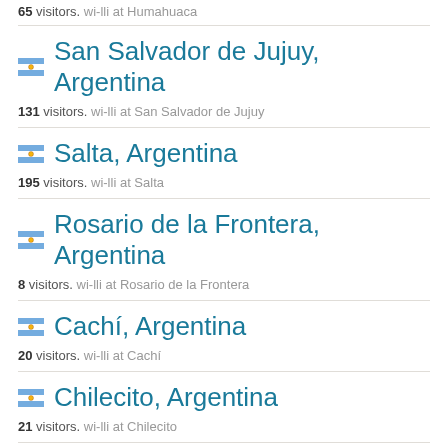65 visitors. wi-lli at Humahuaca
San Salvador de Jujuy, Argentina
131 visitors. wi-lli at San Salvador de Jujuy
Salta, Argentina
195 visitors. wi-lli at Salta
Rosario de la Frontera, Argentina
8 visitors. wi-lli at Rosario de la Frontera
Cachí, Argentina
20 visitors. wi-lli at Cachí
Chilecito, Argentina
21 visitors. wi-lli at Chilecito
Chango Viejo, Argentina